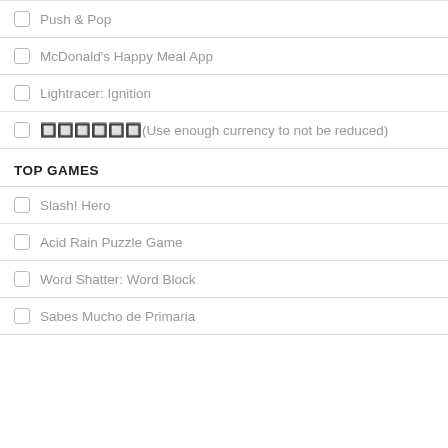Push & Pop
McDonald's Happy Meal App
Lightracer: Ignition
🔲🔲🔲🔲🔲🔲(Use enough currency to not be reduced)
TOP GAMES
Slash! Hero
Acid Rain Puzzle Game
Word Shatter: Word Block
Sabes Mucho de Primaria